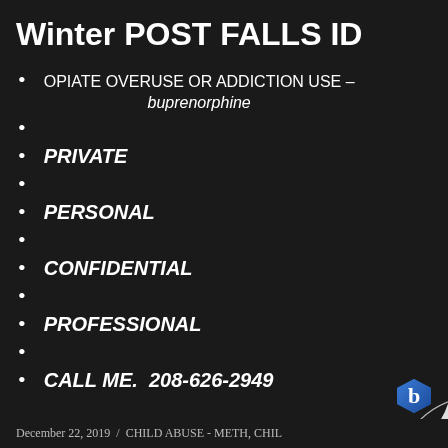Winter POST FALLS ID
OPIATE OVERUSE OR ADDICTION USE – buprenorphine
PRIVATE
PERSONAL
CONFIDENTIAL
PROFESSIONAL
CALL ME. 208-626-2949
December 22, 2019 / CHILD ABUSE - METH, CHIL…